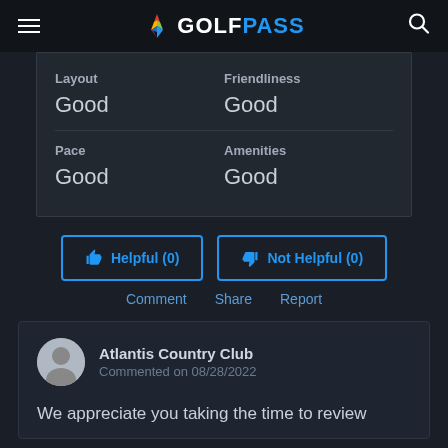GOLFPASS
| Category | Value | Category | Value |
| --- | --- | --- | --- |
| Layout | Good | Friendliness | Good |
| Pace | Good | Amenities | Good |
Helpful (0)
Not Helpful (0)
Comment  Share  Report
Atlantis Country Club
Commented on 08/28/2022
We appreciate you taking the time to review